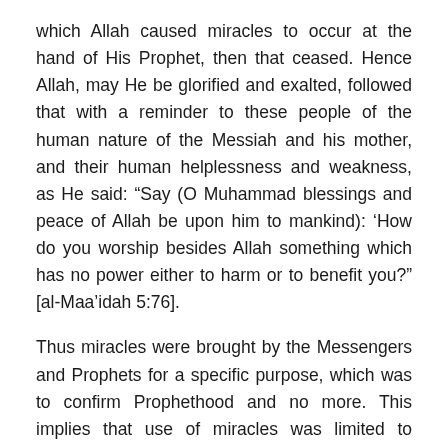which Allah caused miracles to occur at the hand of His Prophet, then that ceased. Hence Allah, may He be glorified and exalted, followed that with a reminder to these people of the human nature of the Messiah and his mother, and their human helplessness and weakness, as He said: “Say (O Muhammad blessings and peace of Allah be upon him to mankind): ‘How do you worship besides Allah something which has no power either to harm or to benefit you?” [al-Maa’idah 5:76].
Thus miracles were brought by the Messengers and Prophets for a specific purpose, which was to confirm Prophethood and no more. This implies that use of miracles was limited to appropriate times and places, and was not a matter in which the individual